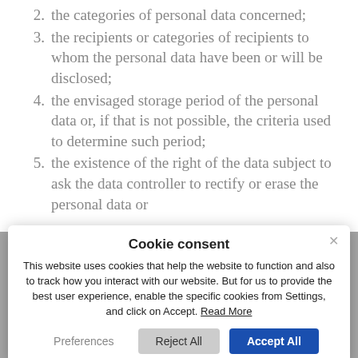2. the categories of personal data concerned;
3. the recipients or categories of recipients to whom the personal data have been or will be disclosed;
4. the envisaged storage period of the personal data or, if that is not possible, the criteria used to determine such period;
5. the existence of the right of the data subject to ask the data controller to rectify or erase the personal data or
Cookie consent

This website uses cookies that help the website to function and also to track how you interact with our website. But for us to provide the best user experience, enable the specific cookies from Settings, and click on Accept. Read More

Preferences   Reject All   Accept All